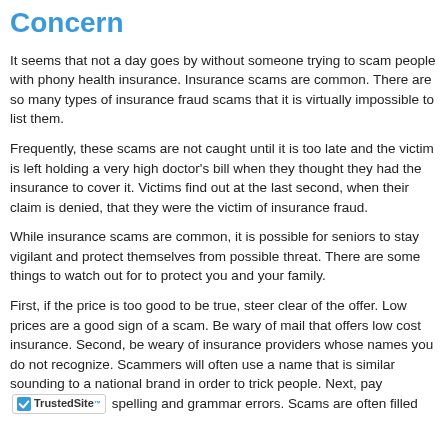Concern
It seems that not a day goes by without someone trying to scam people with phony health insurance. Insurance scams are common. There are so many types of insurance fraud scams that it is virtually impossible to list them.
Frequently, these scams are not caught until it is too late and the victim is left holding a very high doctor's bill when they thought they had the insurance to cover it. Victims find out at the last second, when their claim is denied, that they were the victim of insurance fraud.
While insurance scams are common, it is possible for seniors to stay vigilant and protect themselves from possible threat. There are some things to watch out for to protect you and your family.
First, if the price is too good to be true, steer clear of the offer. Low prices are a good sign of a scam. Be wary of mail that offers low cost insurance. Second, be weary of insurance providers whose names you do not recognize. Scammers will often use a name that is similar sounding to a national brand in order to trick people. Next, pay attention to spelling and grammar errors. Scams are often filled